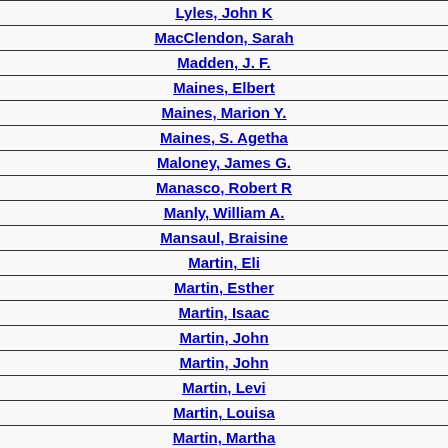| Lyles, John K |
| MacClendon, Sarah |
| Madden, J. F. |
| Maines, Elbert |
| Maines, Marion Y. |
| Maines, S. Agetha |
| Maloney, James G. |
| Manasco, Robert R |
| Manly, William A. |
| Mansaul, Braisine |
| Martin, Eli |
| Martin, Esther |
| Martin, Isaac |
| Martin, John |
| Martin, John |
| Martin, Levi |
| Martin, Louisa |
| Martin, Martha |
| Martin, Mary Ann |
| Martin, Mrs. Elizabeth |
| Martin, Rachel |
| Martin, Rebecca |
| Martin, Sarah Ann |